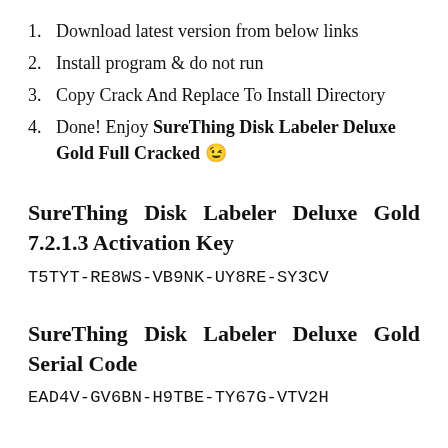1. Download latest version from below links
2. Install program & do not run
3. Copy Crack And Replace To Install Directory
4. Done! Enjoy SureThing Disk Labeler Deluxe Gold Full Cracked 😉
SureThing Disk Labeler Deluxe Gold 7.2.1.3 Activation Key
T5TYT-RE8WS-VB9NK-UY8RE-SY3CV
SureThing Disk Labeler Deluxe Gold Serial Code
EAD4V-GV6BN-H9TBE-TY67G-VTV2H